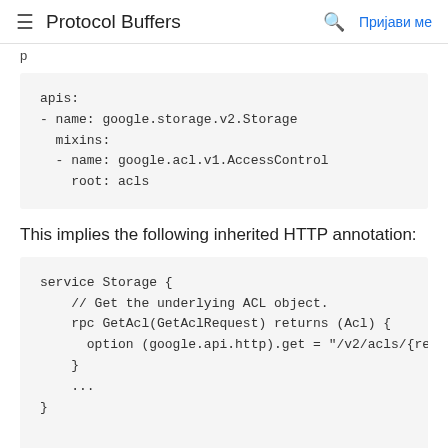≡  Protocol Buffers   🔍  Пријави ме
p
apis:
- name: google.storage.v2.Storage
  mixins:
  - name: google.acl.v1.AccessControl
    root: acls
This implies the following inherited HTTP annotation:
service Storage {
    // Get the underlying ACL object.
    rpc GetAcl(GetAclRequest) returns (Acl) {
      option (google.api.http).get = "/v2/acls/{res
    }
    ...
}